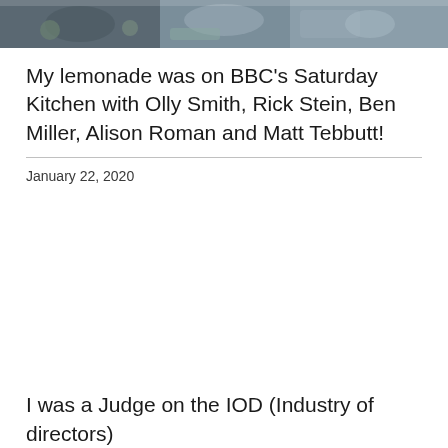[Figure (photo): A photo strip showing people at what appears to be a cooking show set with food and kitchen elements visible.]
My lemonade was on BBC's Saturday Kitchen with Olly Smith, Rick Stein, Ben Miller, Alison Roman and Matt Tebbutt!
January 22, 2020
I was a Judge on the IOD (Industry of directors)